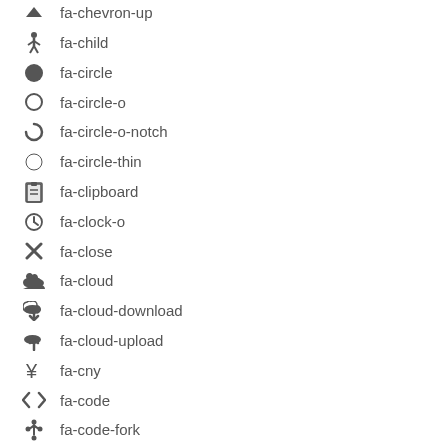fa-chevron-up
fa-child
fa-circle
fa-circle-o
fa-circle-o-notch
fa-circle-thin
fa-clipboard
fa-clock-o
fa-close
fa-cloud
fa-cloud-download
fa-cloud-upload
fa-cny
fa-code
fa-code-fork
fa-codepen